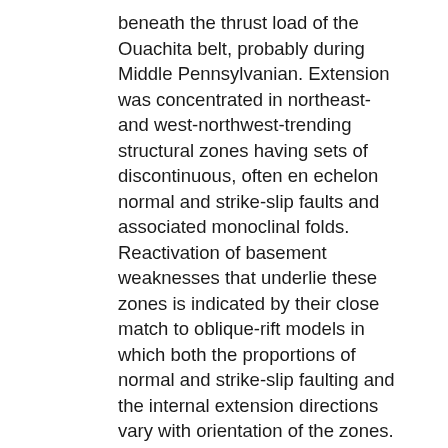beneath the thrust load of the Ouachita belt, probably during Middle Pennsylvanian. Extension was concentrated in northeast- and west-northwest-trending structural zones having sets of discontinuous, often en echelon normal and strike-slip faults and associated monoclinal folds. Reactivation of basement weaknesses that underlie these zones is indicated by their close match to oblique-rift models in which both the proportions of normal and strike-slip faulting and the internal extension directions vary with orientation of the zones. Subsequent propagation of north-south Ouachita shortening into the foreland formed small-offset strike-slip and sparse reverse faults that overprinted older extensional structures. Strike-slip faults were concentrated in reactivated northeast-trending structural